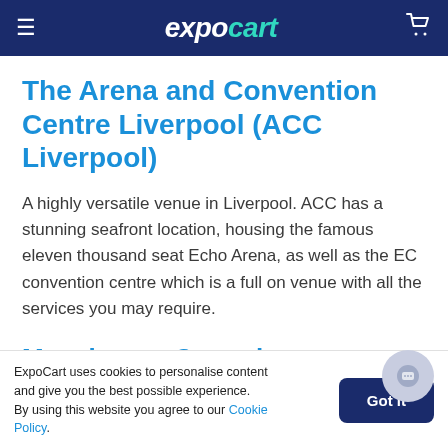expocart
The Arena and Convention Centre Liverpool (ACC Liverpool)
A highly versatile venue in Liverpool. ACC has a stunning seafront location, housing the famous eleven thousand seat Echo Arena, as well as the EC convention centre which is a full on venue with all the services you may require.
Manchester Central
This venue has been a core part of central Manchester for a century, commonly referred to as G-Mex. Another
ExpoCart uses cookies to personalise content and give you the best possible experience.
By using this website you agree to our Cookie Policy.